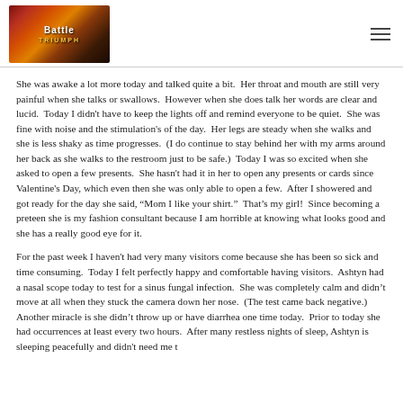[Figure (logo): Colorful logo image with fire/flame imagery and text 'TRIUMPH' or similar]
She was awake a lot more today and talked quite a bit.  Her throat and mouth are still very painful when she talks or swallows.  However when she does talk her words are clear and lucid.  Today I didn't have to keep the lights off and remind everyone to be quiet.  She was fine with noise and the stimulation's of the day.  Her legs are steady when she walks and she is less shaky as time progresses.  (I do continue to stay behind her with my arms around her back as she walks to the restroom just to be safe.)  Today I was so excited when she asked to open a few presents.  She hasn't had it in her to open any presents or cards since Valentine's Day, which even then she was only able to open a few.  After I showered and got ready for the day she said, “Mom I like your shirt.”  That’s my girl!  Since becoming a preteen she is my fashion consultant because I am horrible at knowing what looks good and she has a really good eye for it.
For the past week I haven't had very many visitors come because she has been so sick and time consuming.  Today I felt perfectly happy and comfortable having visitors.  Ashtyn had a nasal scope today to test for a sinus fungal infection.  She was completely calm and didn’t move at all when they stuck the camera down her nose.  (The test came back negative.)  Another miracle is she didn’t throw up or have diarrhea one time today.  Prior to today she had occurrences at least every two hours.  After many restless nights of sleep, Ashtyn is sleeping peacefully and didn't need me t